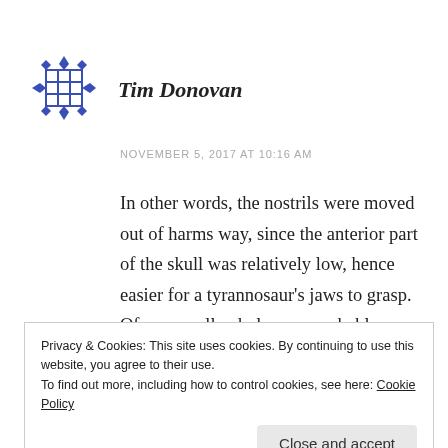[Figure (illustration): Blue decorative avatar icon — a grid pattern with diamond shapes around it in blue, resembling a 3x3 tile with diamond ornaments on each side and corner]
Tim Donovan
NOVEMBER 5, 2017 AT 10:16 AM
In other words, the nostrils were moved out of harms way, since the anterior part of the skull was relatively low, hence easier for a tyrannosaur's jaws to grasp. Of course all ankylosaurs probably turned to deny a tyrannosaur access to the head. but attacks
Privacy & Cookies: This site uses cookies. By continuing to use this website, you agree to their use.
To find out more, including how to control cookies, see here: Cookie Policy
Close and accept
“extreme” defense might be expected